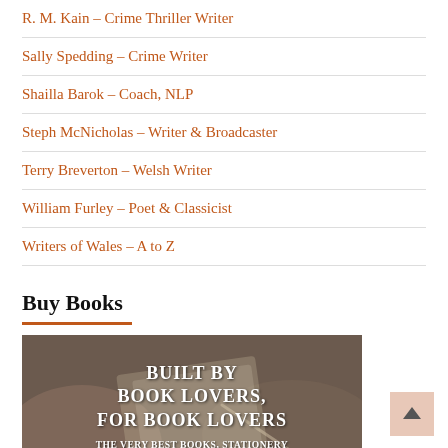R. M. Kain – Crime Thriller Writer
Sally Spedding – Crime Writer
Shailla Barok – Coach, NLP
Steph McNicholas – Writer & Broadcaster
Terry Breverton – Welsh Writer
William Furley – Poet & Classicist
Writers of Wales – A to Z
Buy Books
[Figure (photo): Dark atmospheric image of hands holding a book with text overlay: BUILT BY BOOK LOVERS, FOR BOOK LOVERS — THE VERY BEST BOOKS, STATIONERY AND GIFTS, ONLINE AND IN STORE]